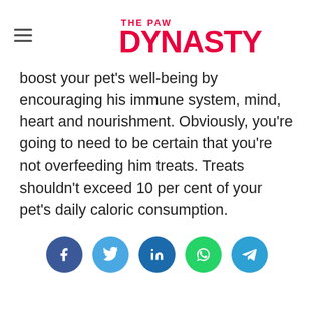THE PAW DYNASTY
boost your pet’s well-being by encouraging his immune system, mind, heart and nourishment. Obviously, you’re going to need to be certain that you’re not overfeeding him treats. Treats shouldn’t exceed 10 per cent of your pet’s daily caloric consumption.
[Figure (infographic): Row of five social media share buttons: Facebook (dark blue), Twitter (light blue), LinkedIn (dark blue), WhatsApp (green), Telegram (light blue)]